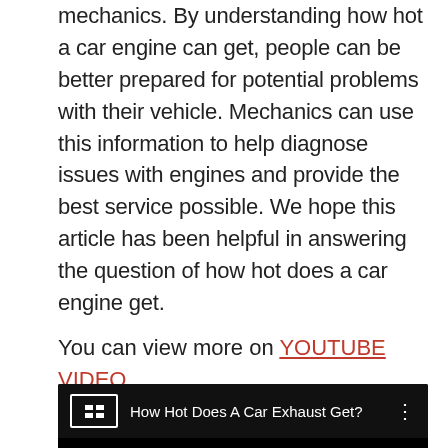mechanics. By understanding how hot a car engine can get, people can be better prepared for potential problems with their vehicle. Mechanics can use this information to help diagnose issues with engines and provide the best service possible. We hope this article has been helpful in answering the question of how hot does a car engine get.
You can view more on YOUTUBE VIDEO
[Figure (screenshot): YouTube video embed showing title 'How Hot Does A Car Exhaust Get?' with a dark/black video thumbnail and a channel logo (stylized EE in a box) on the left.]